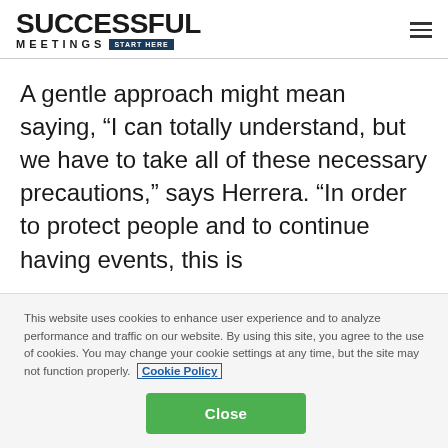SUCCESSFUL MEETINGS START HERE
A gentle approach might mean saying, “I can totally understand, but we have to take all of these necessary precautions,” says Herrera. “In order to protect people and to continue having events, this is
This website uses cookies to enhance user experience and to analyze performance and traffic on our website. By using this site, you agree to the use of cookies. You may change your cookie settings at any time, but the site may not function properly. Cookie Policy
Close